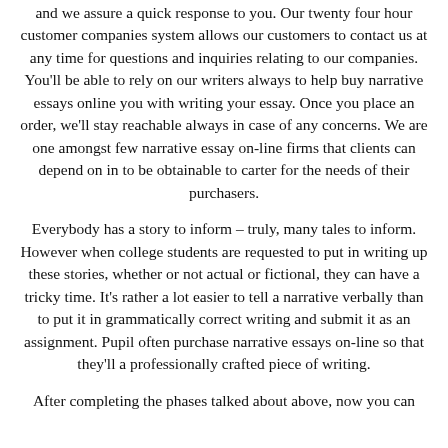and we assure a quick response to you. Our twenty four hour customer companies system allows our customers to contact us at any time for questions and inquiries relating to our companies. You'll be able to rely on our writers always to help buy narrative essays online you with writing your essay. Once you place an order, we'll stay reachable always in case of any concerns. We are one amongst few narrative essay on-line firms that clients can depend on in to be obtainable to carter for the needs of their purchasers.
Everybody has a story to inform – truly, many tales to inform. However when college students are requested to put in writing up these stories, whether or not actual or fictional, they can have a tricky time. It's rather a lot easier to tell a narrative verbally than to put it in grammatically correct writing and submit it as an assignment. Pupil often purchase narrative essays on-line so that they'll a professionally crafted piece of writing.
After completing the phases talked about above, now you can